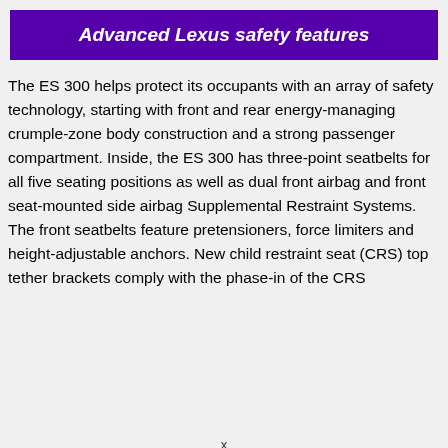Advanced Lexus safety features
The ES 300 helps protect its occupants with an array of safety technology, starting with front and rear energy-managing crumple-zone body construction and a strong passenger compartment. Inside, the ES 300 has three-point seatbelts for all five seating positions as well as dual front airbag and front seat-mounted side airbag Supplemental Restraint Systems. The front seatbelts feature pretensioners, force limiters and height-adjustable anchors. New child restraint seat (CRS) top tether brackets comply with the phase-in of the CRS
x